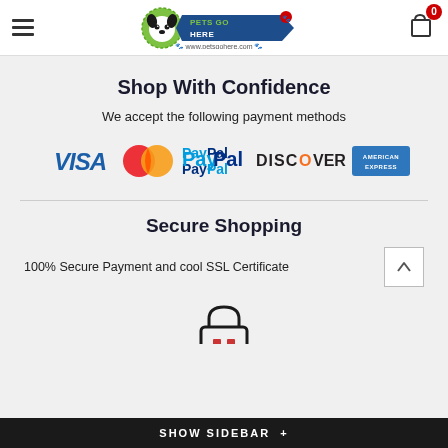[Figure (logo): Pets Go Here logo with dog/cat and paw prints, www.petsgohere.com]
Shop With Confidence
We accept the following payment methods
[Figure (illustration): Payment method logos: VISA, MasterCard, PayPal, DISCOVER, AMERICAN EXPRESS]
Secure Shopping
100% Secure Payment and cool SSL Certificate
[Figure (illustration): Padlock icon representing secure shopping]
SHOW SIDEBAR +